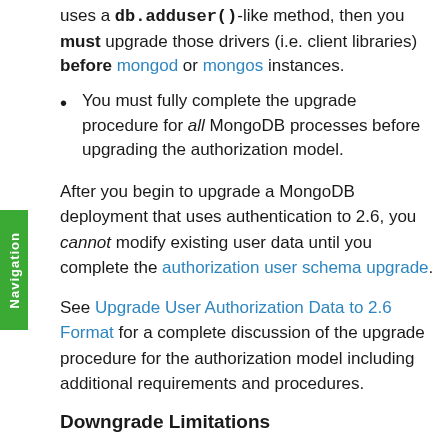uses a db.adduser()-like method, then you must upgrade those drivers (i.e. client libraries) before mongod or mongos instances.
You must fully complete the upgrade procedure for all MongoDB processes before upgrading the authorization model.
After you begin to upgrade a MongoDB deployment that uses authentication to 2.6, you cannot modify existing user data until you complete the authorization user schema upgrade.
See Upgrade User Authorization Data to 2.6 Format for a complete discussion of the upgrade procedure for the authorization model including additional requirements and procedures.
Downgrade Limitations